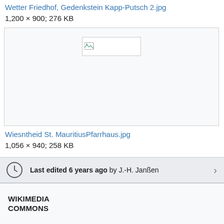Wetter Friedhof, Gedenkstein Kapp-Putsch 2.jpg
1,200 × 900; 276 KB
[Figure (photo): Thumbnail placeholder box with broken image icon for Wiesntheid St. MauritiusPfarrhaus.jpg]
Wiesntheid St. MauritiusPfarrhaus.jpg
1,056 × 940; 258 KB
Last edited 6 years ago by J.-H. Janßen
WIKIMEDIA COMMONS